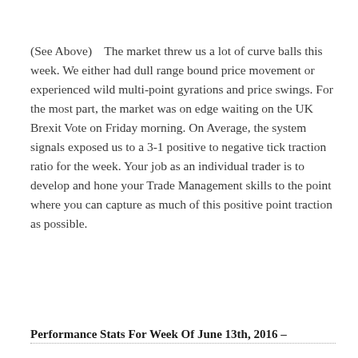(See Above)    The market threw us a lot of curve balls this week. We either had dull range bound price movement or experienced wild multi-point gyrations and price swings. For the most part, the market was on edge waiting on the UK Brexit Vote on Friday morning. On Average, the system signals exposed us to a 3-1 positive to negative tick traction ratio for the week. Your job as an individual trader is to develop and hone your Trade Management skills to the point where you can capture as much of this positive point traction as possible.
Performance Stats For Week Of June 13th, 2016  –